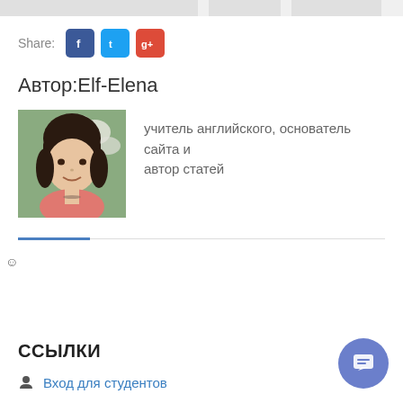[Figure (other): Top navigation bar with three gray segments]
Share:
[Figure (other): Social share buttons: Facebook (blue), Twitter (blue), Google+ (red)]
Автор:Elf-Elena
[Figure (photo): Portrait photo of a young woman with dark hair and bangs, wearing a pink top, smiling, with white flowers in background]
учитель английского, основатель сайта и автор статей
☺
Ссылки
Вход для студентов